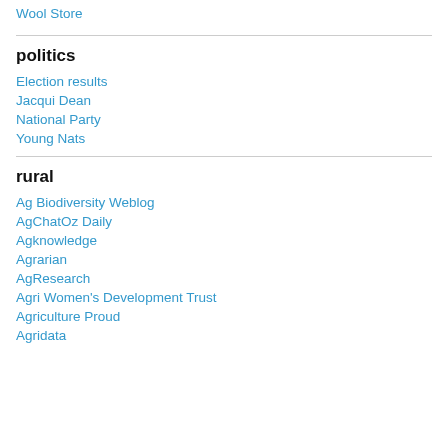Wool Store
politics
Election results
Jacqui Dean
National Party
Young Nats
rural
Ag Biodiversity Weblog
AgChatOz Daily
Agknowledge
Agrarian
AgResearch
Agri Women's Development Trust
Agriculture Proud
Agridata